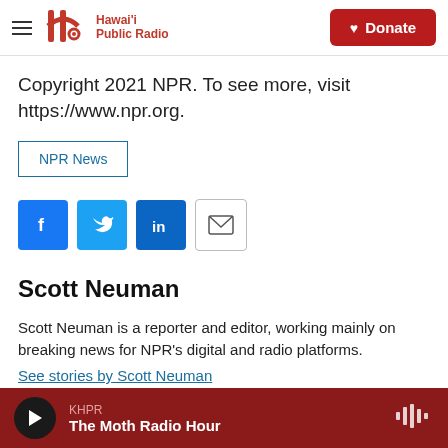Hawai'i Public Radio — Donate
Copyright 2021 NPR. To see more, visit https://www.npr.org.
NPR News
[Figure (infographic): Social sharing icons row: Facebook (blue), Twitter (blue), LinkedIn (blue), Email (white outlined)]
Scott Neuman
Scott Neuman is a reporter and editor, working mainly on breaking news for NPR's digital and radio platforms.
See stories by Scott Neuman
KHPR — The Moth Radio Hour (audio player bar)